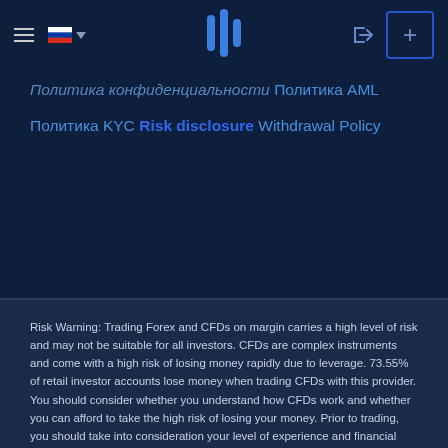Navigation bar with hamburger menu, Russian flag/language selector, logo, login icon, and plus button
Политика конфиденциальности
Политика AML
Политика KYC
Risk disclosure
Withdrawal Policy
Risk Warning: Trading Forex and CFDs on margin carries a high level of risk and may not be suitable for all investors. CFDs are complex instruments and come with a high risk of losing money rapidly due to leverage. 73.55% of retail investor accounts lose money when trading CFDs with this provider. You should consider whether you understand how CFDs work and whether you can afford to take the high risk of losing your money. Prior to trading, you should take into consideration your level of experience and financial situation. GTTC strives to provide you with all the necessary information and protective measures, but, if the risks seem still unclear to you, please seek independent advice. We can't accept accounts from...